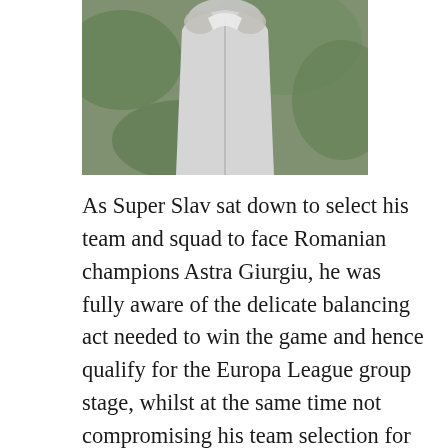[Figure (photo): A person in a white shirt or jersey, photographed from the torso up, with a blurred green background. The figure appears to be covering their face or adjusting their collar.]
As Super Slav sat down to select his team and squad to face Romanian champions Astra Giurgiu, he was fully aware of the delicate balancing act needed to win the game and hence qualify for the Europa League group stage, whilst at the same time not compromising his team selection for the difficult away Premier League game at Manchester City on Sunday. He was unable to do this last season but now had a much stronger squad to pick from despite the injuries and unavailable players. Or so we thought. He